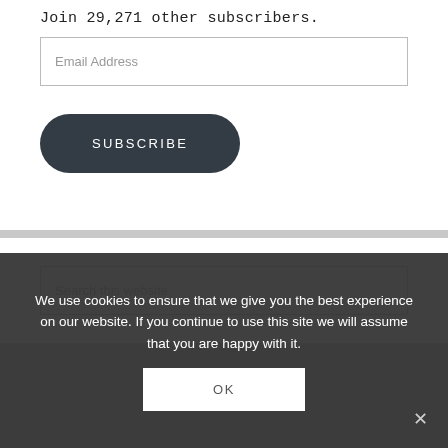Join 29,271 other subscribers.
Email Address
SUBSCRIBE
Search this website
We use cookies to ensure that we give you the best experience on our website. If you continue to use this site we will assume that you are happy with it.
OK